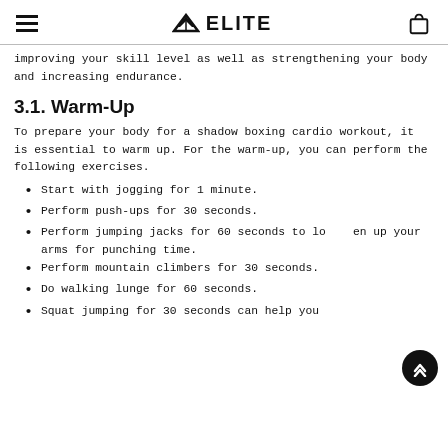ELITE
improving your skill level as well as strengthening your body and increasing endurance.
3.1. Warm-Up
To prepare your body for a shadow boxing cardio workout, it is essential to warm up. For the warm-up, you can perform the following exercises.
Start with jogging for 1 minute.
Perform push-ups for 30 seconds.
Perform jumping jacks for 60 seconds to loosen up your arms for punching time.
Perform mountain climbers for 30 seconds.
Do walking lunge for 60 seconds.
Squat jumping for 30 seconds can help you